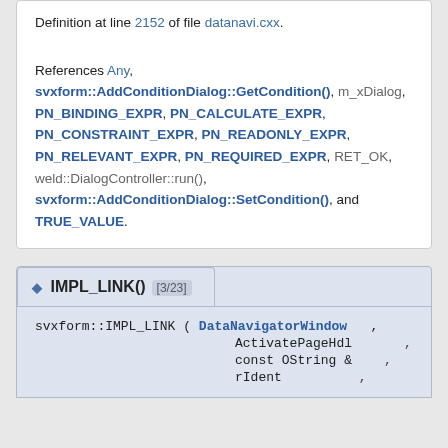Definition at line 2152 of file datanavi.cxx.
References Any, svxform::AddConditionDialog::GetCondition(), m_xDialog, PN_BINDING_EXPR, PN_CALCULATE_EXPR, PN_CONSTRAINT_EXPR, PN_READONLY_EXPR, PN_RELEVANT_EXPR, PN_REQUIRED_EXPR, RET_OK, weld::DialogController::run(), svxform::AddConditionDialog::SetCondition(), and TRUE_VALUE.
◆ IMPL_LINK() [3/23]
svxform::IMPL_LINK ( DataNavigatorWindow , ActivatePageHdl , const OString & , rIdent ,